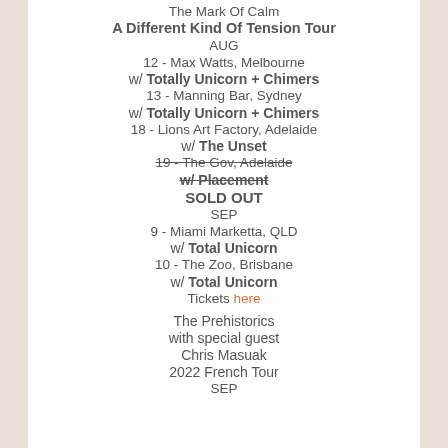The Mark Of Calm
A Different Kind Of Tension Tour
AUG
12 - Max Watts, Melbourne
w/ Totally Unicorn + Chimers
13 - Manning Bar, Sydney
w/ Totally Unicorn + Chimers
18 - Lions Art Factory, Adelaide
w/ The Unset
19 - The Gov, Adelaide (strikethrough)
w/ Placement (strikethrough)
SOLD OUT
SEP
9 - Miami Marketta, QLD
w/ Total Unicorn
10 - The Zoo, Brisbane
w/ Total Unicorn
Tickets here
The Prehistorics
with special guest
Chris Masuak
2022 French Tour
SEP